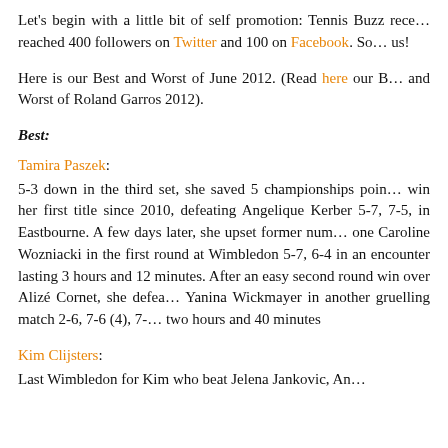Let's begin with a little bit of self promotion: Tennis Buzz recently reached 400 followers on Twitter and 100 on Facebook. So follow us!
Here is our Best and Worst of June 2012. (Read here our Best and Worst of Roland Garros 2012).
Best:
Tamira Paszek:
5-3 down in the third set, she saved 5 championships points to win her first title since 2010, defeating Angelique Kerber 5-7, 7-5, in Eastbourne. A few days later, she upset former number one Caroline Wozniacki in the first round at Wimbledon 5-7, 6-4 in an encounter lasting 3 hours and 12 minutes. After an easy second round win over Alizé Cornet, she defeated Yanina Wickmayer in another gruelling match 2-6, 7-6 (4), 7- two hours and 40 minutes
Kim Clijsters:
Last Wimbledon for Kim who beat Jelena Jankovic, An...